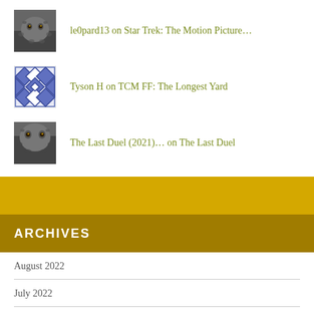le0pard13 on Star Trek: The Motion Picture…
Tyson H on TCM FF: The Longest Yard
The Last Duel (2021)… on The Last Duel
ARCHIVES
August 2022
July 2022
June 2022